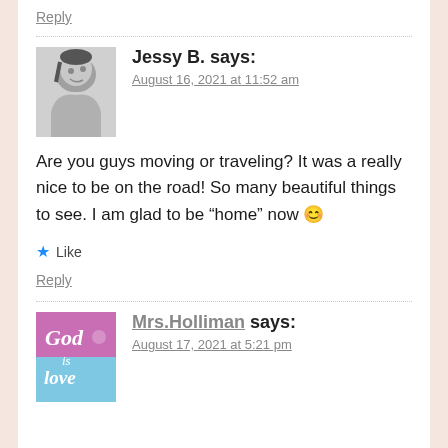Reply
Jessy B. says:
August 16, 2021 at 11:52 am
Are you guys moving or traveling? It was a really nice to be on the road! So many beautiful things to see. I am glad to be “home” now 😊
★ Like
Reply
Mrs.Holliman says:
August 17, 2021 at 5:21 pm